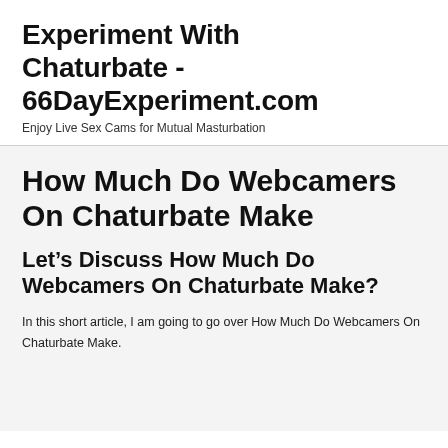Experiment With Chaturbate - 66DayExperiment.com
Enjoy Live Sex Cams for Mutual Masturbation
How Much Do Webcamers On Chaturbate Make
Let’s Discuss How Much Do Webcamers On Chaturbate Make?
In this short article, I am going to go over How Much Do Webcamers On Chaturbate Make.